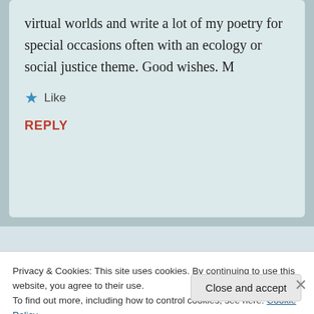virtual worlds and write a lot of my poetry for special occasions often with an ecology or social justice theme. Good wishes. M
★ Like
REPLY
Privacy & Cookies: This site uses cookies. By continuing to use this website, you agree to their use.
To find out more, including how to control cookies, see here: Cookie Policy
Close and accept